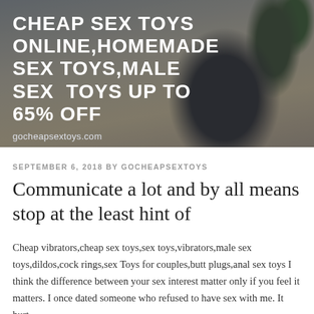[Figure (photo): Banner image with dark spherical planter with succulent on a wooden surface, with other plants in background. Overlaid with white bold text headline and website URL.]
CHEAP SEX TOYS ONLINE,HOMEMADE SEX TOYS,MALE SEX TOYS UP TO 65% OFF
gocheapsextoys.com
SEPTEMBER 6, 2018 BY GOCHEAPSEXTOYS
Communicate a lot and by all means stop at the least hint of
Cheap vibrators,cheap sex toys,sex toys,vibrators,male sex toys,dildos,cock rings,sex Toys for couples,butt plugs,anal sex toys I think the difference between your sex interest matter only if you feel it matters. I once dated someone who refused to have sex with me. It hurt